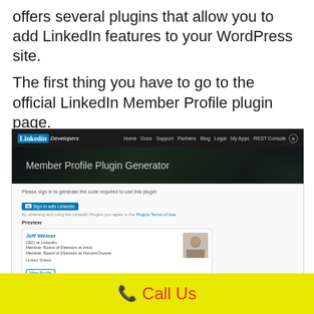offers several plugins that allow you to add LinkedIn features to your WordPress site.
The first thing you have to go to the official LinkedIn Member Profile plugin page.
[Figure (screenshot): Screenshot of LinkedIn Developers page showing the Member Profile Plugin Generator, with a sign-in button and a preview card for Jeff Weiner, CEO of LinkedIn.]
📞 Call Us